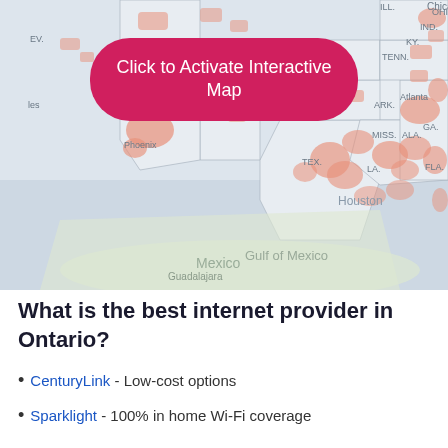[Figure (map): Interactive coverage map showing the south-central and southeastern United States including states such as Utah, Arizona, Oklahoma, Texas, Mississippi, Alabama, Georgia, Tennessee, Kentucky, Indiana, Ohio, and cities like Chicago, Phoenix, Atlanta, Houston. Pink/salmon shaded areas indicate coverage zones. A pink rounded-rectangle button overlay reads 'Click to Activate Interactive Map'. Mexico and Gulf of Mexico are visible at the bottom.]
What is the best internet provider in Ontario?
CenturyLink - Low-cost options
Sparklight - 100% in home Wi-Fi coverage